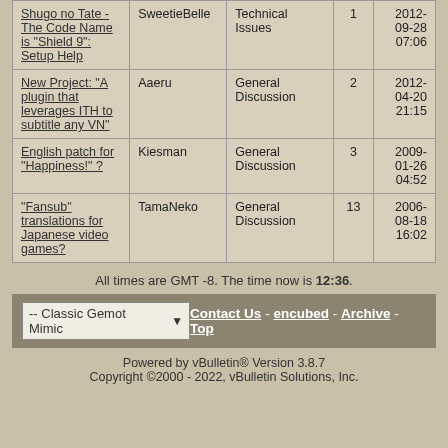| Topic | Author | Forum | Replies | Last Post |
| --- | --- | --- | --- | --- |
| Shugo no Tate - The Code Name is "Shield 9": Setup Help | SweetieBelle | Technical Issues | 1 | 2012-09-28 07:06 |
| New Project: "A plugin that leverages ITH to subtitle any VN" | Aaeru | General Discussion | 2 | 2012-04-20 21:15 |
| English patch for "Happiness!" ? | Kiesman | General Discussion | 3 | 2009-01-26 04:52 |
| "Fansub" translations for Japanese video games? | TamaNeko | General Discussion | 13 | 2006-08-18 16:02 |
All times are GMT -8. The time now is 12:36.
-- Classic Gemot Mimic   Contact Us - encubed - Archive - Top
Powered by vBulletin® Version 3.8.7
Copyright ©2000 - 2022, vBulletin Solutions, Inc.